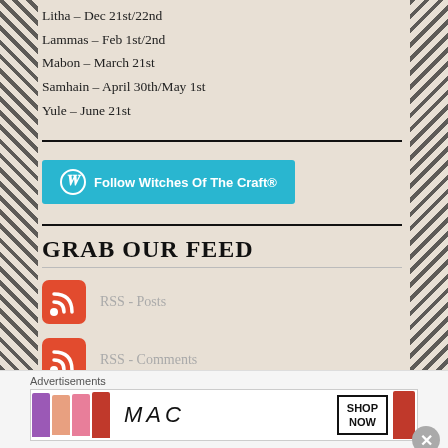Litha – Dec 21st/22nd
Lammas – Feb 1st/2nd
Mabon – March 21st
Samhain – April 30th/May 1st
Yule – June 21st
[Figure (other): WordPress Follow button: Follow Witches Of The Craft®]
GRAB OUR FEED
RSS - Posts
RSS - Comments
Advertisements
[Figure (photo): MAC cosmetics advertisement banner showing lipsticks with SHOP NOW button]